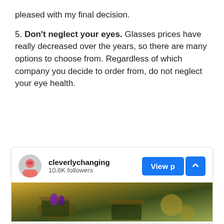pleased with my final decision.
5. Don't neglect your eyes. Glasses prices have really decreased over the years, so there are many options to choose from. Regardless of which company you decide to order from, do not neglect your eye health.
[Figure (other): A social media widget for the account 'cleverlychanging' with 10.6K followers, showing a 'View p' button and a chevron/arrow button, and a partial image of what appears to be gift boxes or decorative items with purple and gold coloring.]